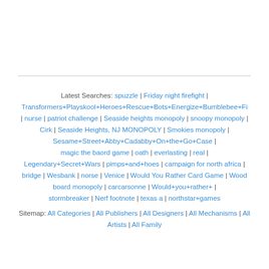Latest Searches: spuzzle | Friday night firefight | Transformers+Playskool+Heroes+Rescue+Bots+Energize+Bumblebee+Fi | nurse | patriot challenge | Seaside heights monopoly | snoopy monopoly | Cirk | Seaside Heights, NJ MONOPOLY | Smokies monopoly | Sesame+Street+Abby+Cadabby+On+the+Go+Case | magic the baord game | oath | everlasting | real | Legendary+Secret+Wars | pimps+and+hoes | campaign for north africa | bridge | Wesbank | norse | Venice | Would You Rather Card Game | Wood board monopoly | carcarsonne | Would+you+rather+ | stormbreaker | Nerf footnote | texas a | northstar+games
Sitemap: All Categories | All Publishers | All Designers | All Mechanisms | All Artists | All Family